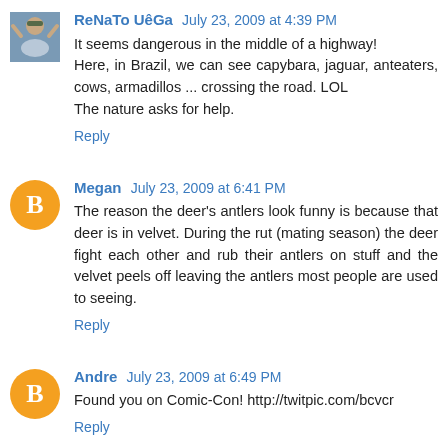ReNaTo UêGa  July 23, 2009 at 4:39 PM
It seems dangerous in the middle of a highway!
Here, in Brazil, we can see capybara, jaguar, anteaters, cows, armadillos ... crossing the road. LOL
The nature asks for help.
Reply
Megan  July 23, 2009 at 6:41 PM
The reason the deer's antlers look funny is because that deer is in velvet. During the rut (mating season) the deer fight each other and rub their antlers on stuff and the velvet peels off leaving the antlers most people are used to seeing.
Reply
Andre  July 23, 2009 at 6:49 PM
Found you on Comic-Con! http://twitpic.com/bcvcr
Reply